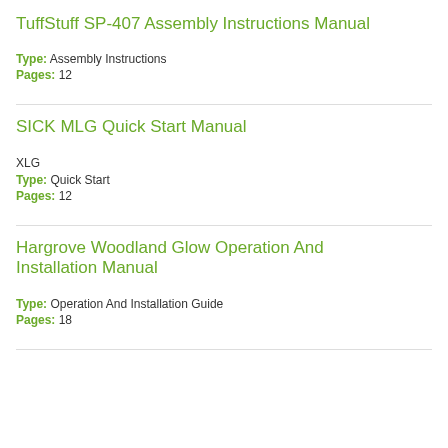TuffStuff SP-407 Assembly Instructions Manual
Type: Assembly Instructions
Pages: 12
SICK MLG Quick Start Manual
XLG
Type: Quick Start
Pages: 12
Hargrove Woodland Glow Operation And Installation Manual
Type: Operation And Installation Guide
Pages: 18